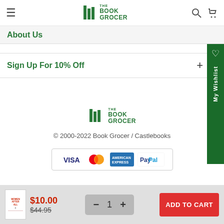THE BOOK GROCER
About Us
Sign Up For 10% Off
[Figure (logo): The Book Grocer logo with book icon and text THE BOOK GROCER]
© 2000-2022 Book Grocer / Castlebooks
[Figure (other): Payment method logos: VISA, MasterCard, American Express, PayPal]
$10.00 $44.95 ADD TO CART quantity 1